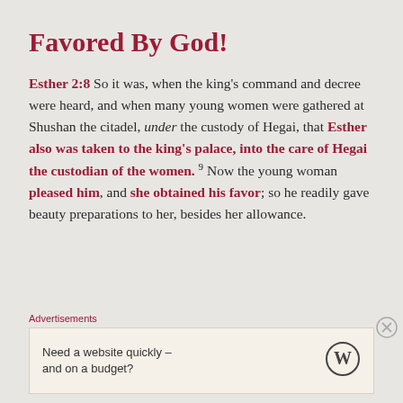Favored By God!
Esther 2:8 So it was, when the king's command and decree were heard, and when many young women were gathered at Shushan the citadel, under the custody of Hegai, that Esther also was taken to the king's palace, into the care of Hegai the custodian of the women. 9 Now the young woman pleased him, and she obtained his favor; so he readily gave beauty preparations to her, besides her allowance.
Advertisements
Need a website quickly – and on a budget?